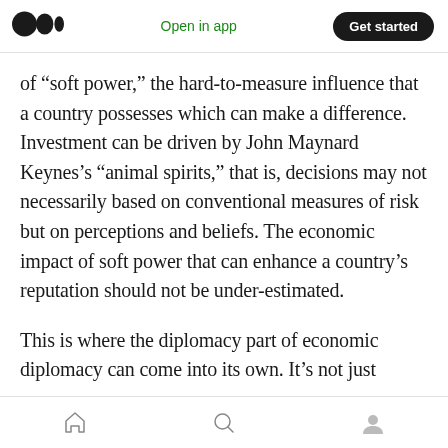Medium app header — Open in app | Get started
of “soft power,” the hard-to-measure influence that a country possesses which can make a difference. Investment can be driven by John Maynard Keynes’s “animal spirits,” that is, decisions may not necessarily based on conventional measures of risk but on perceptions and beliefs. The economic impact of soft power that can enhance a country’s reputation should not be under-estimated.
This is where the diplomacy part of economic diplomacy can come into its own. It’s not just